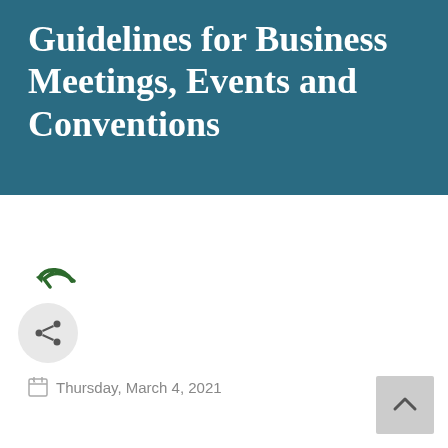Guidelines for Business Meetings, Events and Conventions
Thursday, March 4, 2021